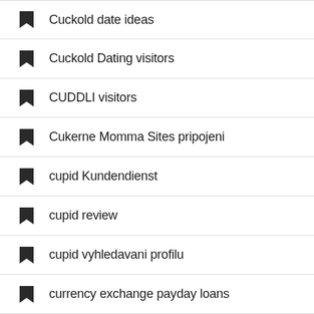Cuckold date ideas
Cuckold Dating visitors
CUDDLI visitors
Cukerne Momma Sites pripojeni
cupid Kundendienst
cupid review
cupid vyhledavani profilu
currency exchange payday loans